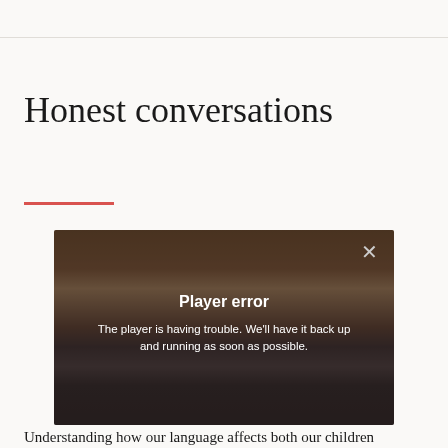Honest conversations
[Figure (screenshot): Video player showing a person sitting in a kitchen/office setting. An error overlay is displayed with a close button (×) in the top right, bold white text 'Player error' in the center, and below it the message 'The player is having trouble. We'll have it back up and running as soon as possible.']
Understanding how our language affects both our children